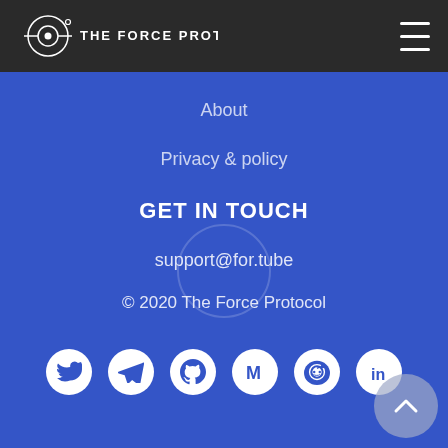THE FORCE PROTOCOL
About
Privacy & policy
GET IN TOUCH
support@for.tube
© 2020 The Force Protocol
[Figure (other): Social media icons row: Twitter, Telegram, GitHub, Medium, Reddit, LinkedIn]
[Figure (other): Back to top button — upward chevron on a light blue-grey circle]